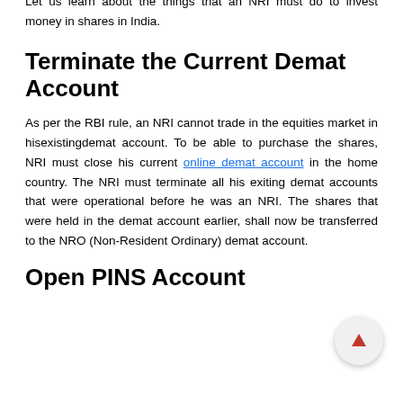shares and securities in an electronic form.
Let us learn about the things that an NRI must do to invest money in shares in India.
Terminate the Current Demat Account
As per the RBI rule, an NRI cannot trade in the equities market in hisexistingdemat account. To be able to purchase the shares, NRI must close his current online demat account in the home country. The NRI must terminate all his exiting demat accounts that were operational before he was an NRI. The shares that were held in the demat account earlier, shall now be transferred to the NRO (Non-Resident Ordinary) demat account.
Open PINS Account